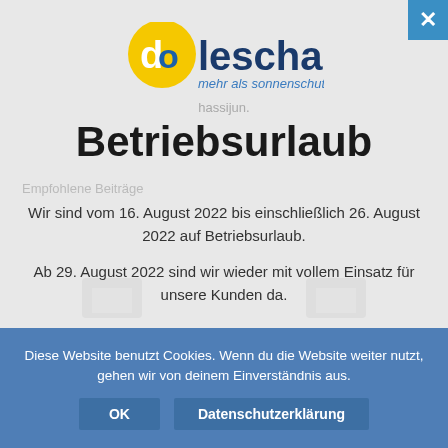[Figure (logo): Doleschal logo: yellow circle with 'do' text in blue, followed by 'leschal' in dark blue, with tagline 'mehr als sonnenschutz.' in blue italic below]
hassijun.
Betriebsurlaub
Empfohlene Beiträge
Wir sind vom 16. August 2022 bis einschließlich 26. August 2022 auf Betriebsurlaub.
Ab 29. August 2022 sind wir wieder mit vollem Einsatz für unsere Kunden da.
Diese Website benutzt Cookies. Wenn du die Website weiter nutzt, gehen wir von deinem Einverständnis aus.
OK
Datenschutzerklärung